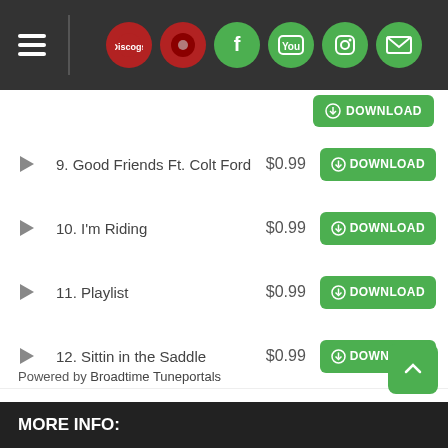Navigation header with Discogs, band, Facebook, YouTube, Instagram, email icons
9. Good Friends Ft. Colt Ford $0.99 DOWNLOAD
10. I'm Riding $0.99 DOWNLOAD
11. Playlist $0.99 DOWNLOAD
12. Sittin in the Saddle $0.99 DOWNLOAD
13. Old and Gray $0.99 DOWNLOAD
14. This Place $0.99 DOWNLOAD
Powered by Broadtime Tuneportals
MORE INFO: